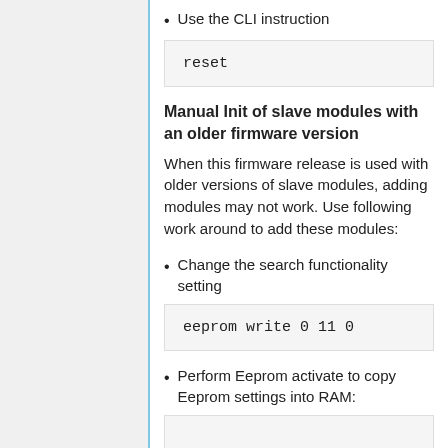Use the CLI instruction
reset
Manual Init of slave modules with an older firmware version
When this firmware release is used with older versions of slave modules, adding modules may not work. Use following work around to add these modules:
Change the search functionality setting
eeprom write 0 11 0
Perform Eeprom activate to copy Eeprom settings into RAM: